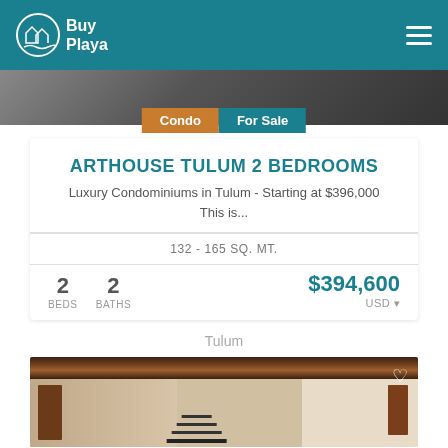BuyPlaya
[Figure (photo): Top banner photo of property, dark tones]
Condo  For Sale
ARTHOUSE TULUM 2 BEDROOMS
Luxury Condominiums in Tulum - Starting at $396,000
This is...
132 - 165 SQ. MT.
2 BEDS  2 BATHS  $394,600 USD
Tulum
[Figure (photo): Interior photo of condo showing wooden ceiling beams, stairs, doors and textured walls]